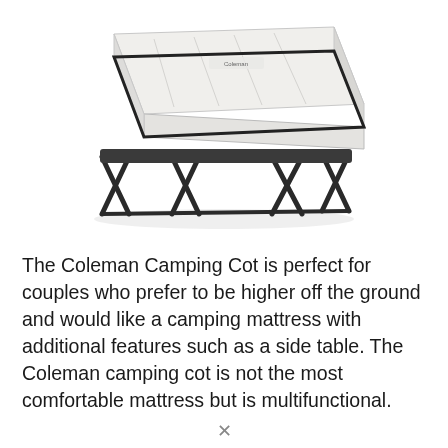[Figure (photo): A Coleman camping cot with a white air mattress on top and a black metal folding frame with X-shaped legs underneath.]
The Coleman Camping Cot is perfect for couples who prefer to be higher off the ground and would like a camping mattress with additional features such as a side table. The Coleman camping cot is not the most comfortable mattress but is multifunctional.